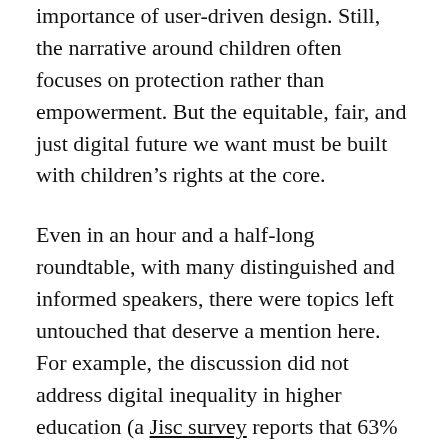importance of user-driven design. Still, the narrative around children often focuses on protection rather than empowerment. But the equitable, fair, and just digital future we want must be built with children's rights at the core.
Even in an hour and a half-long roundtable, with many distinguished and informed speakers, there were topics left untouched that deserve a mention here. For example, the discussion did not address digital inequality in higher education (a Jisc survey reports that 63% of higher education students had problems with wifi connectivity, mobile data costs, or access to suitable devices and spaces to study during the pandemic). Nor did it engage with the role of algorithms and big data in education